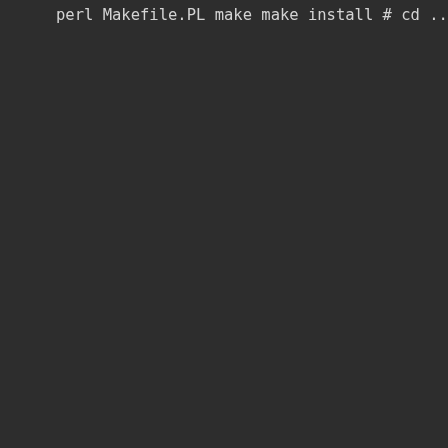perl Makefile.PL
make
make install
#
cd ..
wget http://search.cpan.org/CPAN/authors/id/G
tar xvfpz Digest-MD5-2.33.tar.gz
rm Digest-MD5-2.33.tar.gz
cd Digest-MD5-2.33/
perl Makefile.PL
make
make install
#
cd ..
wget http://search.cpan.org/CPAN/authors/id/J
tar xvfpz TermReadKey-2.30.tar.gz
rm TermReadKey-2.30.tar.gz
cd TermReadKey-2.30/
perl Makefile.PL
make
make install
#
cd ..
wget http://search.cpan.org/CPAN/authors/id/A